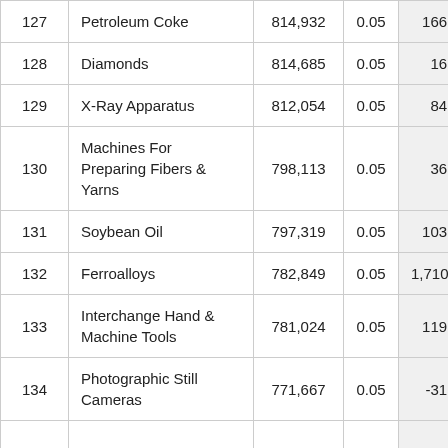| 127 | Petroleum Coke | 814,932 | 0.05 | 166.34 |
| 128 | Diamonds | 814,685 | 0.05 | 16.97 |
| 129 | X-Ray Apparatus | 812,054 | 0.05 | 84.69 |
| 130 | Machines For Preparing Fibers & Yarns | 798,113 | 0.05 | 36.06 |
| 131 | Soybean Oil | 797,319 | 0.05 | 103.35 |
| 132 | Ferroalloys | 782,849 | 0.05 | 1,710.63 |
| 133 | Interchange Hand & Machine Tools | 781,024 | 0.05 | 119.49 |
| 134 | Photographic Still Cameras | 771,667 | 0.05 | -31.55 |